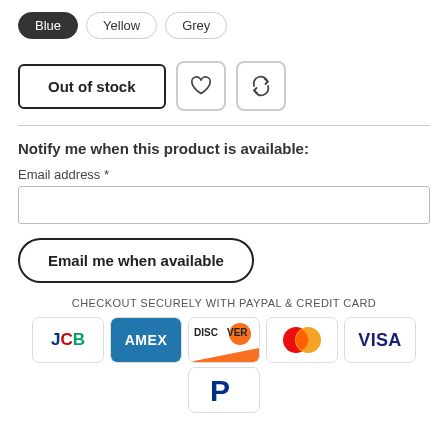Blue, Yellow, Grey (color selection buttons)
Out of stock (button), Wishlist icon, Refresh icon
Notify me when this product is available:
Email address *
(email input field)
Email me when available (button)
CHECKOUT SECURELY WITH PAYPAL & CREDIT CARD
[Figure (infographic): Payment method icons: JCB, AMEX, DISCOVER, Mastercard, VISA, and partial PayPal]